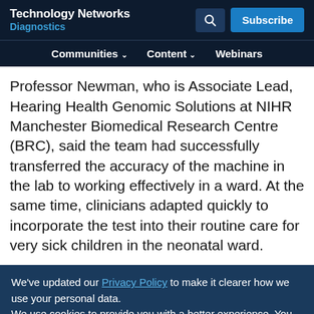Technology Networks Diagnostics
Professor Newman, who is Associate Lead, Hearing Health Genomic Solutions at NIHR Manchester Biomedical Research Centre (BRC), said the team had successfully transferred the accuracy of the machine in the lab to working effectively in a ward. At the same time, clinicians adapted quickly to incorporate the test into their routine care for very sick children in the neonatal ward.
We've updated our Privacy Policy to make it clearer how we use your personal data. We use cookies to provide you with a better experience. You can read our Cookie Policy here.